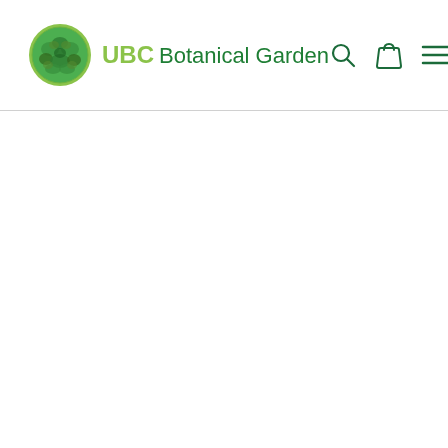UBC Botanical Garden
[Figure (logo): UBC Botanical Garden logo with green circular botanical icon and text 'UBC Botanical Garden' in green, plus search, shopping bag, and hamburger menu icons on the right]